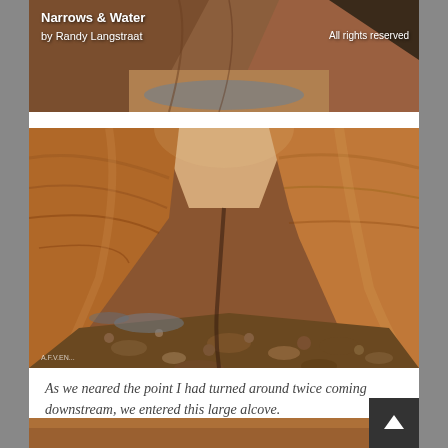[Figure (photo): Top portion of a narrow canyon slot canyon photo - Narrows & Water - with water on sandy floor, partial view]
Narrows & Water
by Randy Langstraat
All rights reserved
[Figure (photo): Photograph of a large red sandstone slot canyon alcove with a rocky dry streambed at the bottom, tall smooth red rock walls converging above, rocks and gravel on the floor]
As we neared the point I had turned around twice coming downstream, we entered this large alcove.
[Figure (photo): Bottom strip of another canyon photograph, partially visible]